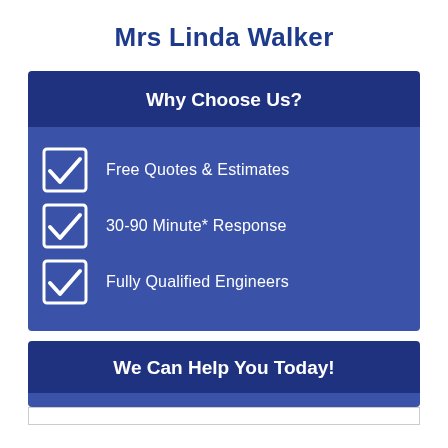Mrs Linda Walker
Why Choose Us?
Free Quotes & Estimates
30-90 Minute* Response
Fully Qualified Engineers
We Can Help You Today!